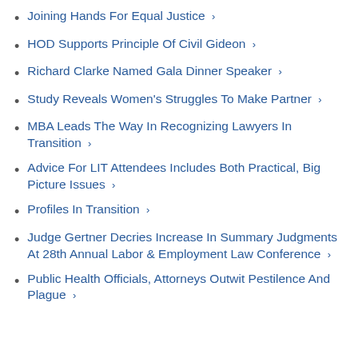Joining Hands For Equal Justice ›
HOD Supports Principle Of Civil Gideon ›
Richard Clarke Named Gala Dinner Speaker ›
Study Reveals Women's Struggles To Make Partner ›
MBA Leads The Way In Recognizing Lawyers In Transition ›
Advice For LIT Attendees Includes Both Practical, Big Picture Issues ›
Profiles In Transition ›
Judge Gertner Decries Increase In Summary Judgments At 28th Annual Labor & Employment Law Conference ›
Public Health Officials, Attorneys Outwit Pestilence And Plague ›